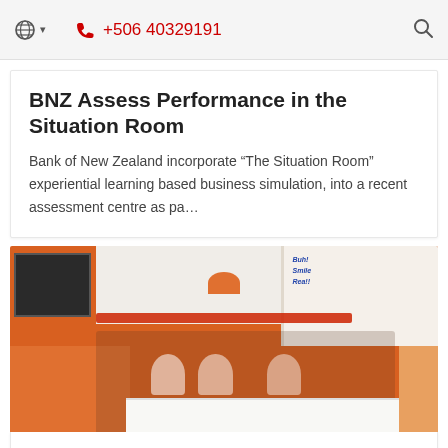🌐 ▾   📞 +506 40329191   🔍
BNZ Assess Performance in the Situation Room
Bank of New Zealand incorporate “The Situation Room” experiential learning based business simulation, into a recent assessment centre as pa…
[Figure (photo): Group photo of team members in chef hats and aprons at a food truck challenge event, with orange and white decorative backdrop, black board, and white table in foreground.]
JUN 1, 2019 | FOOD TRUCK CHALLENGE